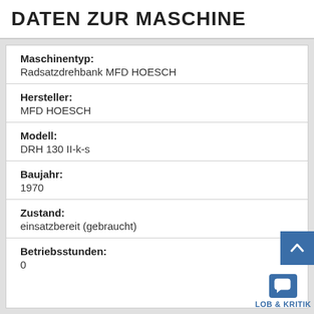DATEN ZUR MASCHINE
Maschinentyp:
Radsatzdrehbank MFD HOESCH
Hersteller:
MFD HOESCH
Modell:
DRH 130 II-k-s
Baujahr:
1970
Zustand:
einsatzbereit (gebraucht)
Betriebsstunden:
0